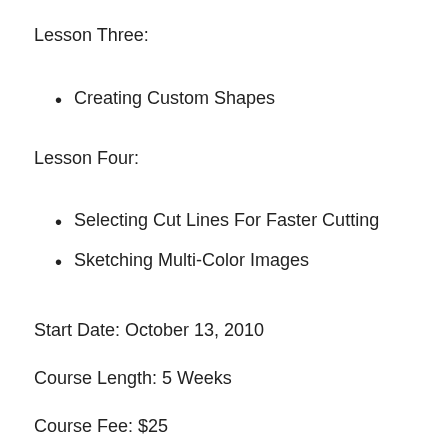Lesson Three:
Creating Custom Shapes
Lesson Four:
Selecting Cut Lines For Faster Cutting
Sketching Multi-Color Images
Start Date: October 13, 2010
Course Length: 5 Weeks
Course Fee: $25